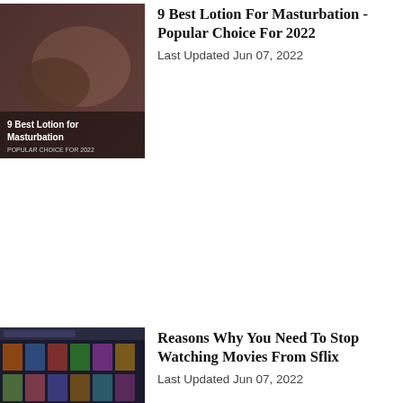[Figure (photo): Person lying down, appears to be a lifestyle/editorial image with overlay text '9 Best Lotion for Masturbation']
9 Best Lotion For Masturbation - Popular Choice For 2022
Last Updated Jun 07, 2022
[Figure (screenshot): Screenshot of Sflix movie streaming website showing movie posters grid]
Reasons Why You Need To Stop Watching Movies From Sflix
Last Updated Jun 07, 2022
[Figure (photo): Portrait photo of Coi Leray with braided hair against gray/yellow background]
Coi Leray Mom And Dad's Family History & Wife, Explained